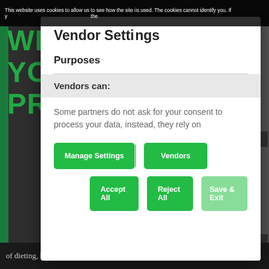This website uses cookies to allow us to see how the site is used. The cookies cannot identify you. If y...the
WE CARE ABOUT YOUR PRIVACY
Vendor Settings
Purposes
Vendors can:
Some partners do not ask for your consent to process your data, instead, they rely on
Manage Settings
Vendors
Accept All
Reject All
Save & Exit
of dieting, bingeing, self-recrimination and self-